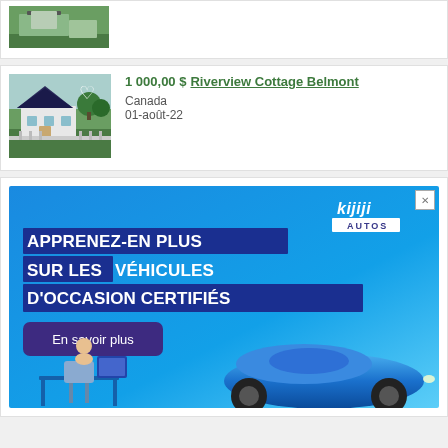[Figure (photo): Partial view of a property listing image showing a green outdoor scene]
[Figure (photo): Photo of a small house/cottage with dark roof, fence, and garden area with a heart wishlist icon]
1 000,00 $ Riverview Cottage Belmont
Canada
01-août-22
[Figure (other): Kijiji Autos advertisement banner in French: APPRENEZ-EN PLUS SUR LES VÉHICULES D'OCCASION CERTIFIÉS with a blue car and button En savoir plus]